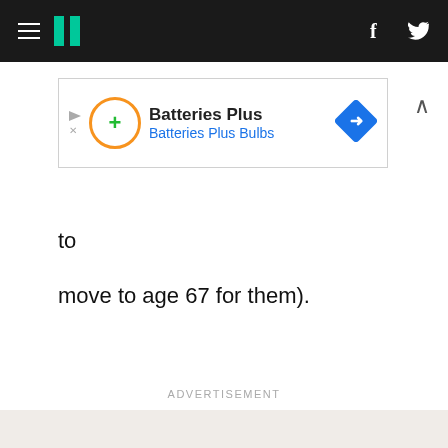HuffPost navigation header with hamburger menu, logo, facebook and twitter icons
[Figure (screenshot): Advertisement banner for Batteries Plus / Batteries Plus Bulbs with orange circular logo, blue diamond navigation icon]
to
move to age 67 for them).
ADVERTISEMENT